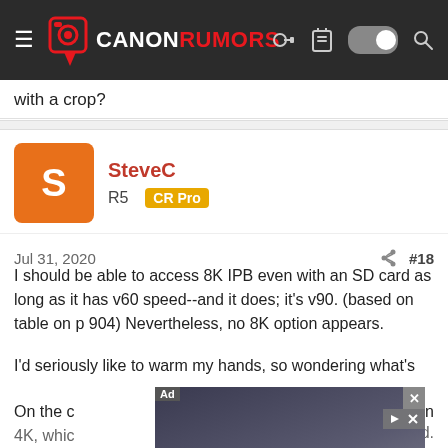[Figure (screenshot): Canon Rumors website navigation bar with logo, hamburger menu, and icons]
with a crop?
SteveC
R5  CR Pro
Jul 31, 2020  #18
I should be able to access 8K IPB even with an SD card as long as it has v60 speed--and it does; it's v90. (based on table on p 904) Nevertheless, no 8K option appears.
I'd seriously like to warm my hands, so wondering what's
[Figure (screenshot): Advertisement overlay: Download Helbiz and ride]
On the c...29.94p in 4K, whic...d.
Could 59...miles cho...